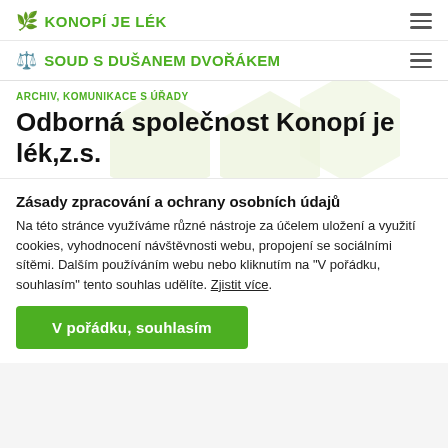🌿 KONOPÍ JE LÉK
⚖️ SOUD S DUŠANEM DVOŘÁKEM
ARCHIV, KOMUNIKACE S ÚŘADY
Odborná společnost Konopí je lék,z.s.
Zásady zpracování a ochrany osobních údajů
Na této stránce využíváme různé nástroje za účelem uložení a využití cookies, vyhodnocení návštěvnosti webu, propojení se sociálními sítěmi. Dalším používáním webu nebo kliknutím na "V pořádku, souhlasím" tento souhlas udělíte. Zjistit více.
V pořádku, souhlasím